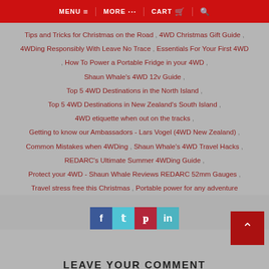MENU  MORE  CART
Tips and Tricks for Christmas on the Road , 4WD Christmas Gift Guide , 4WDing Responsibly With Leave No Trace , Essentials For Your First 4WD , How To Power a Portable Fridge in your 4WD , Shaun Whale's 4WD 12v Guide , Top 5 4WD Destinations in the North Island , Top 5 4WD Destinations in New Zealand's South Island , 4WD etiquette when out on the tracks , Getting to know our Ambassadors - Lars Vogel (4WD New Zealand) , Common Mistakes when 4WDing , Shaun Whale's 4WD Travel Hacks , REDARC's Ultimate Summer 4WDing Guide , Protect your 4WD - Shaun Whale Reviews REDARC 52mm Gauges , Travel stress free this Christmas , Portable power for any adventure
[Figure (other): Social media share buttons: Facebook (blue), Twitter (teal), Pinterest (red), LinkedIn (teal)]
LEAVE YOUR COMMENT